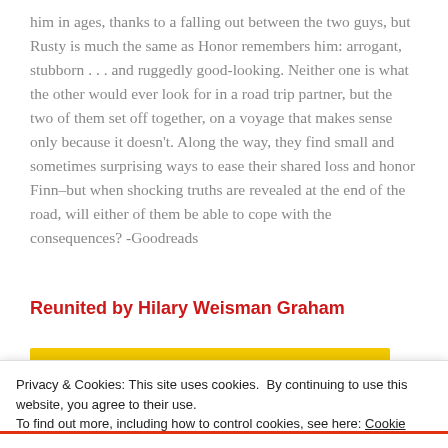him in ages, thanks to a falling out between the two guys, but Rusty is much the same as Honor remembers him: arrogant, stubborn . . . and ruggedly good-looking. Neither one is what the other would ever look for in a road trip partner, but the two of them set off together, on a voyage that makes sense only because it doesn't. Along the way, they find small and sometimes surprising ways to ease their shared loss and honor Finn–but when shocking truths are revealed at the end of the road, will either of them be able to cope with the consequences? -Goodreads
Reunited by Hilary Weisman Graham
Privacy & Cookies: This site uses cookies. By continuing to use this website, you agree to their use. To find out more, including how to control cookies, see here: Cookie Policy